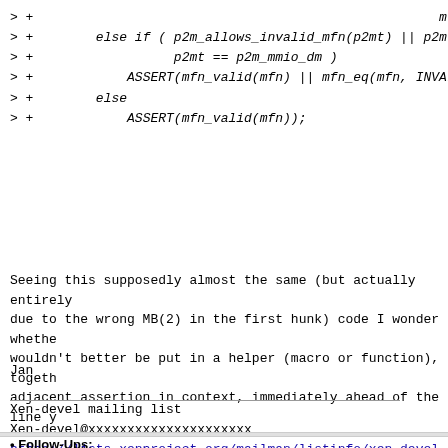> +                                                    mfn_x(mfn) + PP
> +        else if ( p2m_allows_invalid_mfn(p2mt) || p2mt == p
> +                        p2mt == p2m_mmio_dm )
> +            ASSERT(mfn_valid(mfn) || mfn_eq(mfn, INVALID_MF
> +        else
> +            ASSERT(mfn_valid(mfn));
Seeing this supposedly almost the same (but actually entirely due to the wrong MB(2) in the first hunk) code I wonder whethe wouldn't better be put in a helper (macro or function), togeth adjacent assertion in context, immediately ahead of the line y
Jan
Xen-devel mailing list
Xen-devel@xxxxxxxxxxxxxxxxxxxxx
https://lists.xenproject.org/mailman/listinfo/xen-devel
Follow-Ups: Re: [Xen-devel] [PATCH for-4.12 v2 2/7] amd/npt/shadow: replace From: Roger Pau Monné